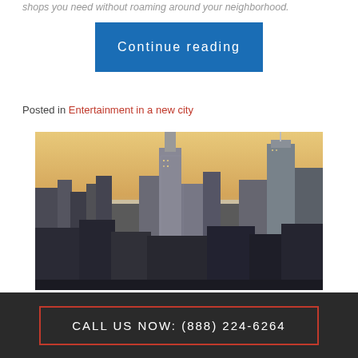shops you need without roaming around your neighborhood.
Continue reading
Posted in Entertainment in a new city
[Figure (photo): Aerial cityscape of New York City skyline at dusk, showing skyscrapers including the Empire State Building with warm sunset sky in background]
CALL US NOW: (888) 224-6264